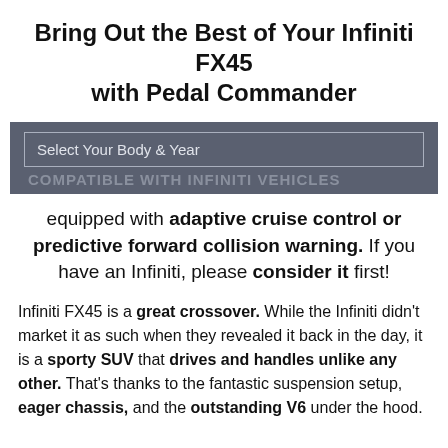Bring Out the Best of Your Infiniti FX45 with Pedal Commander
[Figure (screenshot): Dark gray UI selector box with 'Select Your Body & Year' label inside a bordered rectangle, and partially visible watermark text 'COMPATIBLE with Infiniti vehicles' below]
equipped with adaptive cruise control or predictive forward collision warning. If you have an Infiniti, please consider it first!
Infiniti FX45 is a great crossover. While the Infiniti didn't market it as such when they revealed it back in the day, it is a sporty SUV that drives and handles unlike any other. That's thanks to the fantastic suspension setup, eager chassis, and the outstanding V6 under the hood.